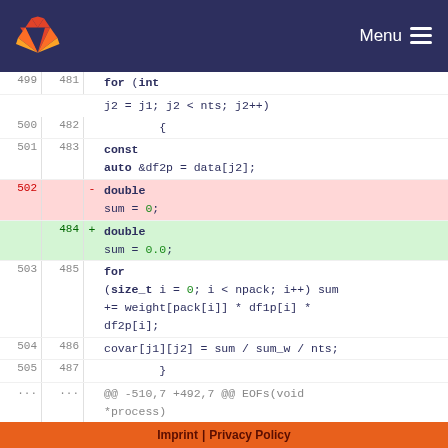GitLab — Menu
[Figure (screenshot): Code diff view showing C++ code changes. Lines 499-511 with old/new line numbers. A change from 'double sum = 0;' to 'double sum = 0.0;'. Includes for loop, const auto, covar assignment, and diff hunk header.]
Imprint | Privacy Policy